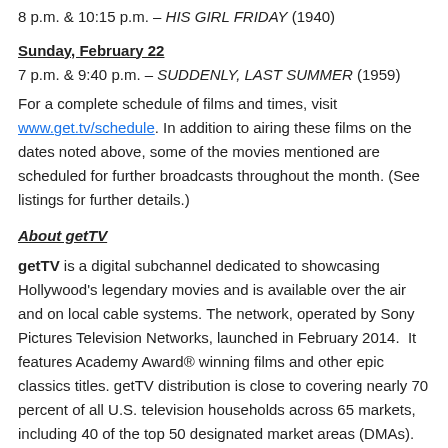8 p.m. & 10:15 p.m. – HIS GIRL FRIDAY (1940)
Sunday, February 22
7 p.m. & 9:40 p.m. – SUDDENLY, LAST SUMMER (1959)
For a complete schedule of films and times, visit www.get.tv/schedule. In addition to airing these films on the dates noted above, some of the movies mentioned are scheduled for further broadcasts throughout the month. (See listings for further details.)
About getTV
getTV is a digital subchannel dedicated to showcasing Hollywood's legendary movies and is available over the air and on local cable systems. The network, operated by Sony Pictures Television Networks, launched in February 2014.  It features Academy Award® winning films and other epic classics titles. getTV distribution is close to covering nearly 70 percent of all U.S. television households across 65 markets, including 40 of the top 50 designated market areas (DMAs). The network is broadcast by Sinclair Broadcast Group, Univision Television Group and Cox Media Group owned